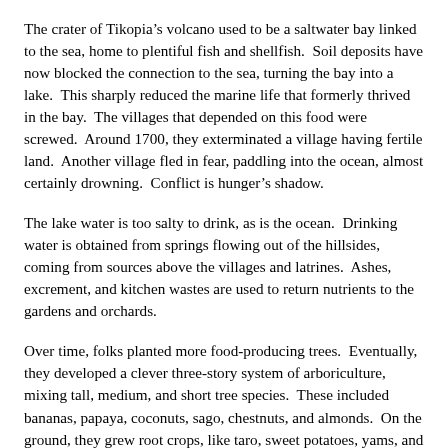The crater of Tikopia's volcano used to be a saltwater bay linked to the sea, home to plentiful fish and shellfish.  Soil deposits have now blocked the connection to the sea, turning the bay into a lake.  This sharply reduced the marine life that formerly thrived in the bay.  The villages that depended on this food were screwed.  Around 1700, they exterminated a village having fertile land.  Another village fled in fear, paddling into the ocean, almost certainly drowning.  Conflict is hunger's shadow.
The lake water is too salty to drink, as is the ocean.  Drinking water is obtained from springs flowing out of the hillsides, coming from sources above the villages and latrines.  Ashes, excrement, and kitchen wastes are used to return nutrients to the gardens and orchards.
Over time, folks planted more food-producing trees.  Eventually, they developed a clever three-story system of arboriculture, mixing tall, medium, and short tree species.  These included bananas, papaya, coconuts, sago, chestnuts, and almonds.  On the ground, they grew root crops, like taro, sweet potatoes, yams, and manioc.  This...